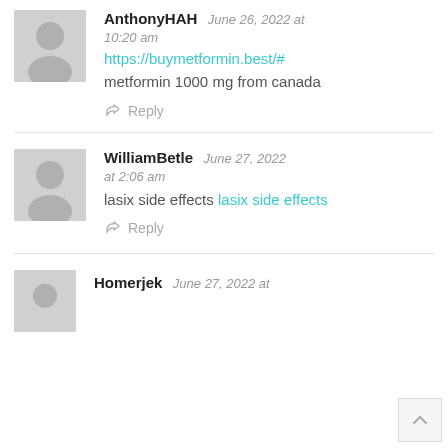AnthonyHAH  June 26, 2022 at 10:20 am
https://buymetformin.best/#
metformin 1000 mg from canada
Reply
WilliamBetle  June 27, 2022 at 2:06 am
lasix side effects lasix side effects
Reply
Homerjek  June 27, 2022 at